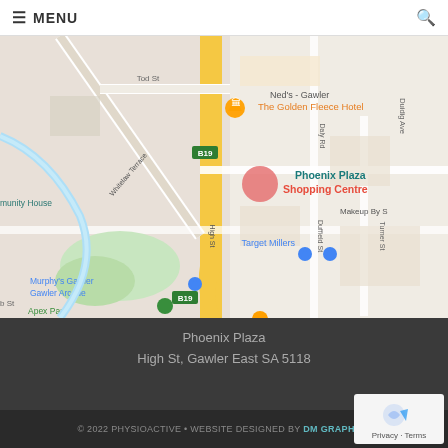MENU
[Figure (map): Google Maps screenshot showing Phoenix Plaza Shopping Centre on High St, Gawler East. Shows nearby landmarks: Ned's - Gawler, The Golden Fleece Hotel, Target Millers, Murphy's Gawler, Gawler Arcade, Apex Park, Café Nova, Salvos Stores Gawler. Streets visible: Tod St, Whitelaw Terrace, High St, Daly Rd, Duffield St, Duidig Ave, Turner St. B19 route marker visible.]
Phoenix Plaza
High St, Gawler East SA 5118
© 2022 PHYSIOACTIVE • WEBSITE DESIGNED BY DM GRAPHICS